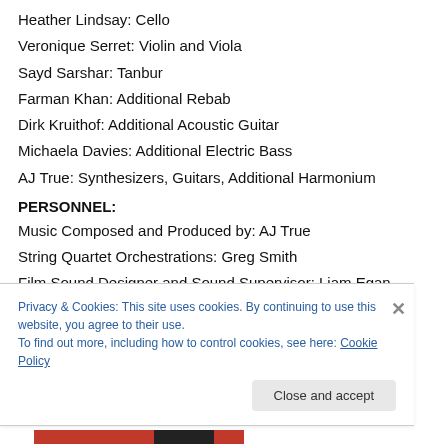Heather Lindsay: Cello
Veronique Serret: Violin and Viola
Sayd Sarshar: Tanbur
Farman Khan: Additional Rebab
Dirk Kruithof: Additional Acoustic Guitar
Michaela Davies: Additional Electric Bass
AJ True: Synthesizers, Guitars, Additional Harmonium
PERSONNEL:
Music Composed and Produced by: AJ True
String Quartet Orchestrations: Greg Smith
Film Sound Designer and Sound Supervisor: Liam Egan
Privacy & Cookies: This site uses cookies. By continuing to use this website, you agree to their use.
To find out more, including how to control cookies, see here: Cookie Policy
Close and accept